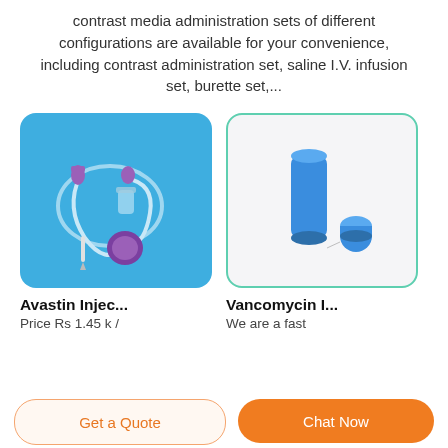contrast media administration sets of different configurations are available for your convenience, including contrast administration set, saline I.V. infusion set, burette set,...
[Figure (photo): Medical IV infusion/administration set with tubing, connectors, and purple components on a blue background]
[Figure (photo): Blue medical syringe tip caps/luer lock caps on a white/light gray background]
Avastin Injec...
Price Rs 1.45 k /
Vancomycin I...
We are a fast
Get a Quote
Chat Now